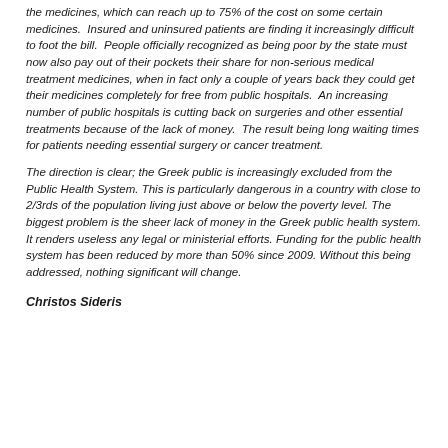the medicines, which can reach up to 75% of the cost on some certain medicines.  Insured and uninsured patients are finding it increasingly difficult to foot the bill.  People officially recognized as being poor by the state must now also pay out of their pockets their share for non-serious medical treatment medicines, when in fact only a couple of years back they could get their medicines completely for free from public hospitals.  An increasing number of public hospitals is cutting back on surgeries and other essential treatments because of the lack of money.  The result being long waiting times for patients needing essential surgery or cancer treatment.
The direction is clear; the Greek public is increasingly excluded from the Public Health System. This is particularly dangerous in a country with close to 2/3rds of the population living just above or below the poverty level. The biggest problem is the sheer lack of money in the Greek public health system. It renders useless any legal or ministerial efforts. Funding for the public health system has been reduced by more than 50% since 2009. Without this being addressed, nothing significant will change.
Christos Sideris